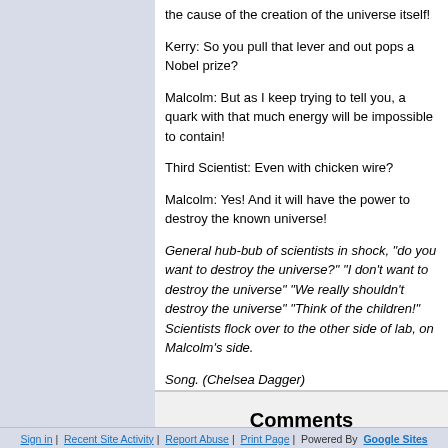the cause of the creation of the universe itself!
Kerry: So you pull that lever and out pops a Nobel prize?
Malcolm: But as I keep trying to tell you, a quark with that much energy will be impossible to contain!
Third Scientist: Even with chicken wire?
Malcolm: Yes! And it will have the power to destroy the known universe!
General hub-bub of scientists in shock, "do you want to destroy the universe?" "I don't want to destroy the universe" "We really shouldn't destroy the universe" "Think of the children!"  Scientists flock over to the other side of lab, on Malcolm's side.
Song. (Chelsea Dagger)
Comments
Sign in | Recent Site Activity | Report Abuse | Print Page | Powered By Google Sites